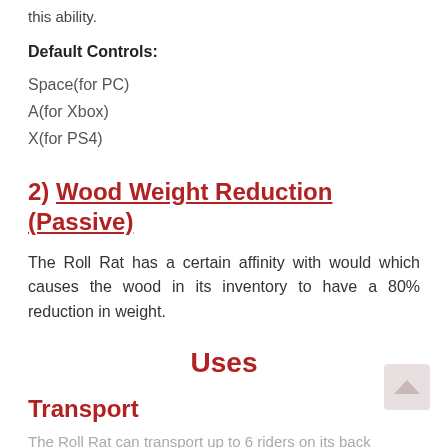this ability.
Default Controls:
Space(for PC)
A(for Xbox)
X(for PS4)
2) Wood Weight Reduction (Passive)
The Roll Rat has a certain affinity with would which causes the wood in its inventory to have a 80% reduction in weight.
Uses
Transport
The Roll Rat can transport up to 6 riders on its back